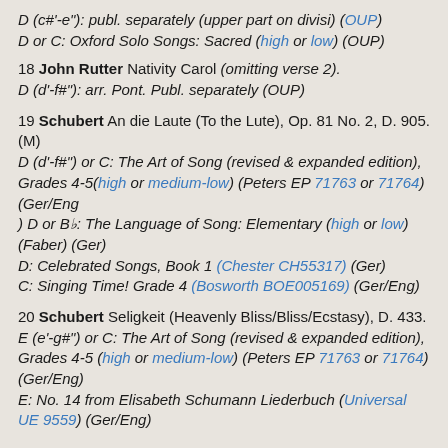D (c#'-e"): publ. separately (upper part on divisi) (OUP)
D or C: Oxford Solo Songs: Sacred (high or low) (OUP)
18 John Rutter Nativity Carol (omitting verse 2).
D (d'-f#"): arr. Pont. Publ. separately (OUP)
19 Schubert An die Laute (To the Lute), Op. 81 No. 2, D. 905. (M)
D (d'-f#") or C: The Art of Song (revised & expanded edition), Grades 4-5(high or medium-low) (Peters EP 71763 or 71764)(Ger/Eng
) D or Bb: The Language of Song: Elementary (high or low) (Faber) (Ger)
D: Celebrated Songs, Book 1 (Chester CH55317) (Ger)
C: Singing Time! Grade 4 (Bosworth BOE005169) (Ger/Eng)
20 Schubert Seligkeit (Heavenly Bliss/Bliss/Ecstasy), D. 433.
E (e'-g#") or C: The Art of Song (revised & expanded edition), Grades 4-5 (high or medium-low) (Peters EP 71763 or 71764)(Ger/Eng)
E: No. 14 from Elisabeth Schumann Liederbuch (Universal UE 9559) (Ger/Eng)